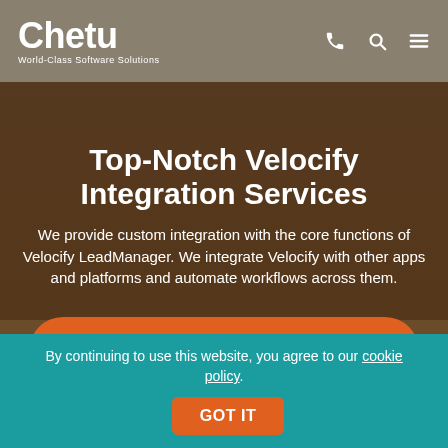Chetu — World-Class Software Solutions
Top-Notch Velocify Integration Services
We provide custom integration with the core functions of Velocify LeadManager. We integrate Velocify with other apps and platforms and automate workflows across them.
SCHEDULE YOUR CONSULTATION TODAY!
By continuing to use this website, you agree to our cookie policy.
GOT IT